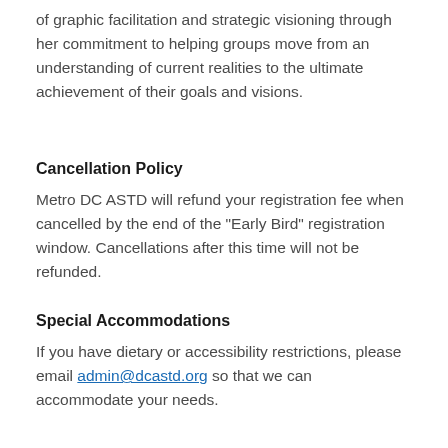of graphic facilitation and strategic visioning through her commitment to helping groups move from an understanding of current realities to the ultimate achievement of their goals and visions.
Cancellation Policy
Metro DC ASTD will refund your registration fee when cancelled by the end of the "Early Bird" registration window. Cancellations after this time will not be refunded.
Special Accommodations
If you have dietary or accessibility restrictions, please email admin@dcastd.org so that we can accommodate your needs.